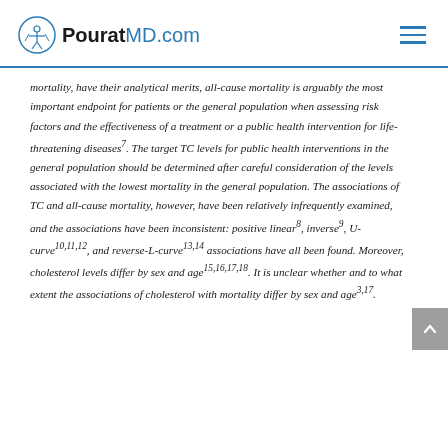PouratMD.com
mortality, have their analytical merits, all-cause mortality is arguably the most important endpoint for patients or the general population when assessing risk factors and the effectiveness of a treatment or a public health intervention for life-threatening diseases7. The target TC levels for public health interventions in the general population should be determined after careful consideration of the levels associated with the lowest mortality in the general population. The associations of TC and all-cause mortality, however, have been relatively infrequently examined, and the associations have been inconsistent: positive linear8, inverse9, U-curve10,11,12, and reverse-L-curve13,14 associations have all been found. Moreover, cholesterol levels differ by sex and age15,16,17,18. It is unclear whether and to what extent the associations of cholesterol with mortality differ by sex and age3,17.